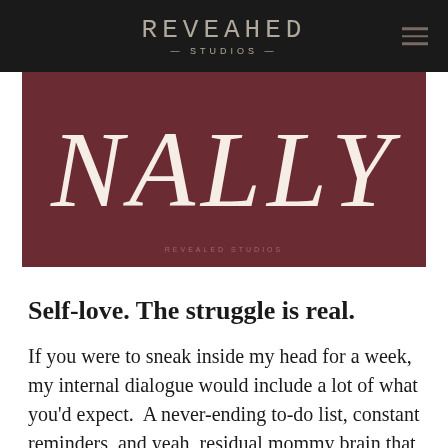REVEALED STUDIOS
[Figure (logo): Dark maroon banner with large italic serif text 'NALLY' in cream/white color, with 'REVEALED STUDIOS' watermark at the bottom center]
Self-love. The struggle is real.
If you were to sneak inside my head for a week, my internal dialogue would include a lot of what you'd expect.  A never-ending to-do list, constant reminders, and yeah, residual mommy brain that persists even though my